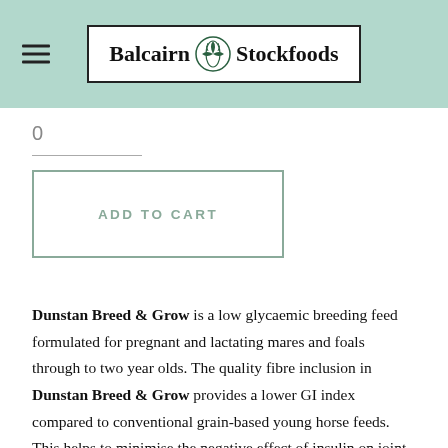Balcairn Stockfoods
0
ADD TO CART
Dunstan Breed & Grow is a low glycaemic breeding feed formulated for pregnant and lactating mares and foals through to two year olds. The quality fibre inclusion in Dunstan Breed & Grow provides a lower GI index compared to conventional grain-based young horse feeds. This helps to minimise the negative effect of insulin on joint